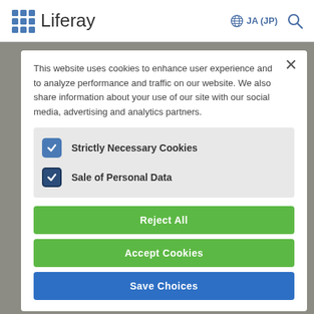Liferay  JA (JP)
This website uses cookies to enhance user experience and to analyze performance and traffic on our website. We also share information about your use of our site with our social media, advertising and analytics partners.
Strictly Necessary Cookies
Sale of Personal Data
Reject All
Accept Cookies
Save Choices